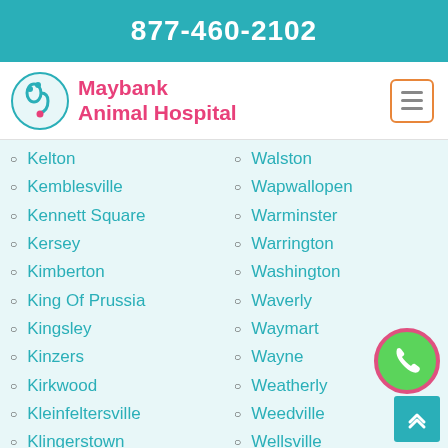877-460-2102
[Figure (logo): Maybank Animal Hospital logo with teal stethoscope and pet icons]
Maybank Animal Hospital
Kelton
Kemblesville
Kennett Square
Kersey
Kimberton
King Of Prussia
Kingsley
Kinzers
Kirkwood
Kleinfeltersville
Klingerstown
Knox Dale
Walston
Wapwallopen
Warminster
Warrington
Washington
Waverly
Waymart
Wayne
Weatherly
Weedville
Wellsville
Wendel